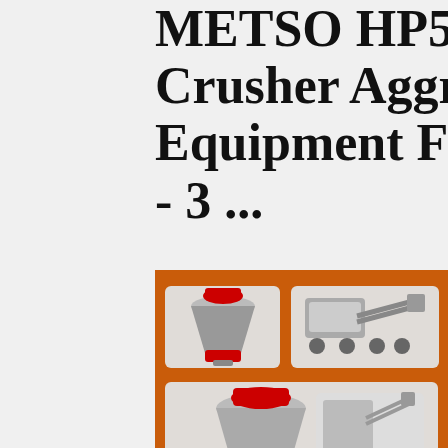METSO HP500 Crusher Aggregate Equipment For Sale - 3 ...
2021-7-23 · Eau Claire, Wisconsin 5470... (715) 631-7043. View Details. Contact Us. HP (Performance) Series cone crushers feature a combination of crusher speed, throw, and cav... This combination has proved revolutionary in higher capacity and superi...See More Details... Shipping Quotes Apply for Financing. 3 1. Uns...
[Figure (illustration): Orange advertisement panel showing industrial crusher machinery images, 'Enjoy 3% discount' yellow banner, 'Click to Chat' yellow button, 'Enquiry' grey button, and contact email limingjlmofen@sina.com]
hp 300 crusher - offers from hp 30... crusher